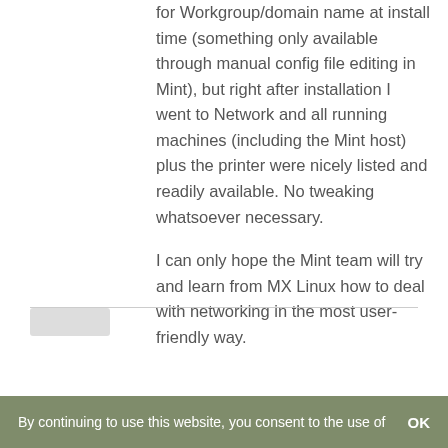for Workgroup/domain name at install time (something only available through manual config file editing in Mint), but right after installation I went to Network and all running machines (including the Mint host) plus the printer were nicely listed and readily available. No tweaking whatsoever necessary.
I can only hope the Mint team will try and learn from MX Linux how to deal with networking in the most user-friendly way.
By continuing to use this website, you consent to the use of   OK